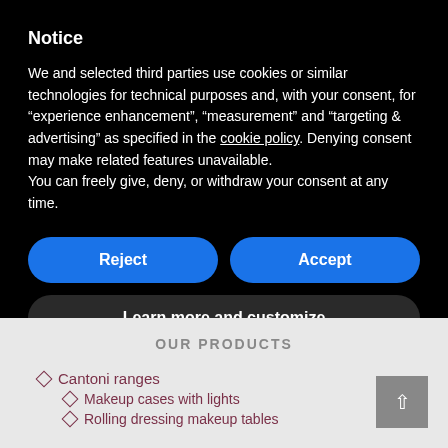Notice
We and selected third parties use cookies or similar technologies for technical purposes and, with your consent, for “experience enhancement”, “measurement” and “targeting & advertising” as specified in the cookie policy. Denying consent may make related features unavailable.
You can freely give, deny, or withdraw your consent at any time.
Reject
Accept
Learn more and customize
OUR PRODUCTS
Cantoni ranges
Makeup cases with lights
Rolling dressing makeup tables